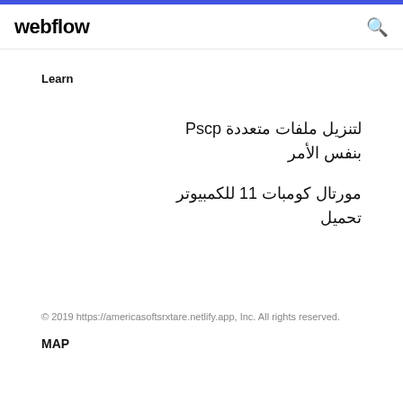webflow
Learn
لتنزيل ملفات متعددة Pscp بنفس الأمر
مورتال كومبات 11 للكمبيوتر تحميل
© 2019 https://americasoftsrxtare.netlify.app, Inc. All rights reserved.
MAP